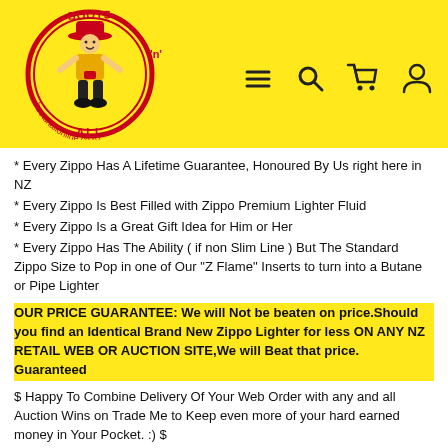Boots n All - bootsnallonline.co.nz
* Every Zippo Has A Lifetime Guarantee, Honoured By Us right here in NZ
* Every Zippo Is Best Filled with Zippo Premium Lighter Fluid
* Every Zippo Is a Great Gift Idea for Him or Her
* Every Zippo Has The Ability ( if non Slim Line ) But The Standard Zippo Size to Pop in one of Our "Z Flame" Inserts to turn into a Butane or Pipe Lighter
OUR PRICE GUARANTEE: We will Not be beaten on price.Should you find an Identical Brand New Zippo Lighter for less ON ANY NZ RETAIL WEB OR AUCTION SITE,We will Beat that price. Guaranteed
$ Happy To Combine Delivery Of Your Web Order with any and all Auction Wins on Trade Me to Keep even more of your hard earned money in Your Pocket. :) $
Hundreds Of Belt Buckles, Hats, Flags, Motorcycle Gear, Hand Made Leather Belts, Bolo String Ties, Hi Vis Clothing, Johnny